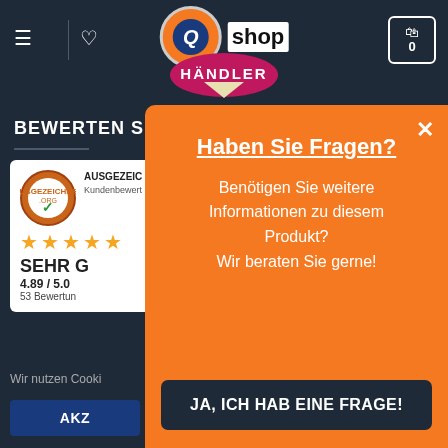[Figure (screenshot): Q-shop logo with orange circle and Q letter, 'shop' text beside it, navigation header on dark background]
[Figure (logo): Händler badge/ribbon in pink/magenta partially visible below logo]
[Figure (screenshot): Cart icon with 0 in white box, top right]
BEWERTEN SI
[Figure (infographic): Ausgezeichnet.org award badge with green checkmark, star rating, SEHR GUT label, 4.89/5.0 score, 53 Bewertungen]
Wir nutzen Cooki
AKZ
Haben Sie Fragen?
Benötigen Sie weitere Informationen zu diesem Produkt? Wir beraten Sie gerne!
JA, ICH HAB EINE FRAGE!